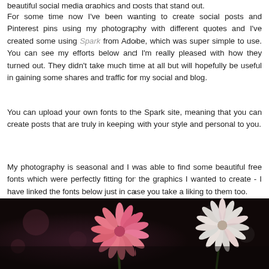For some time now I've been wanting to create social posts and Pinterest pins using my photography with different quotes and I've created some using Spark from Adobe, which was super simple to use. You can see my efforts below and I'm really pleased with how they turned out. They didn't take much time at all but will hopefully be useful in gaining some shares and traffic for my social and blog.
You can upload your own fonts to the Spark site, meaning that you can create posts that are truly in keeping with your style and personal to you.
My photography is seasonal and I was able to find some beautiful free fonts which were perfectly fitting for the graphics I wanted to create - I have linked the fonts below just in case you take a liking to them too.
[Figure (photo): Close-up photograph of pink and white daisy-like flowers with a dark blurred background]